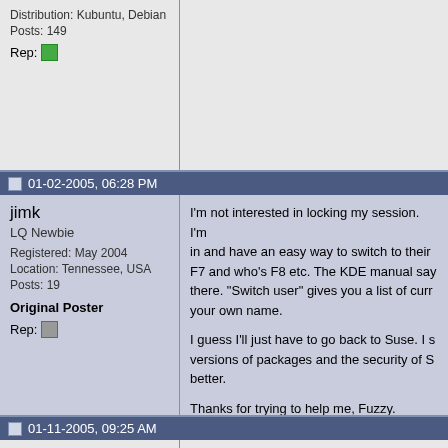Distribution: Kubuntu, Debian
Posts: 149
Rep:
01-02-2005, 06:28 PM
jimk
LQ Newbie
Registered: May 2004
Location: Tennessee, USA
Posts: 19
Original Poster
Rep:
I'm not interested in locking my session. I'm... in and have an easy way to switch to their... F7 and who's F8 etc. The KDE manual say... there. "Switch user" gives you a list of curr... your own name.

I guess I'll just have to go back to Suse. I s... versions of packages and the security of S... better.

Thanks for trying to help me, Fuzzy.
01-11-2005, 09:25 AM
kilgor
Member
Registered: Oct 2002
Posts: 38
Rep:
same thing, FC2
I'm trying to accomplish about the same thi...

Running FC2 (don't feel the need to upgra... Linux 339-linux 2.6.8-1.521.stk16 #1 Fri Se... GNU/Linux
(Although the kernel with bigger stk is insta...